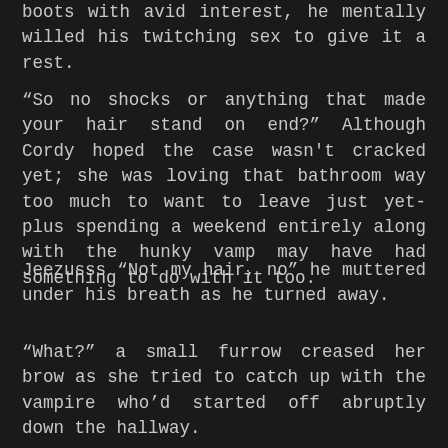uninteresting" he lied. Looking down at his heavy boots with avid interest, he mentally willed his twitching sex to give it a rest.
“So no shocks or anything that made your hair stand on end?” Although Cordy hoped the case wasn't cracked yet; she was loving that bathroom way too much to want to leave just yet- plus spending a weekend entirely along with the hunky vamp may have had something to do with it too.
Jeezusss “Not my hair, no” he muttered under his breath as he turned away.
“What?” a small furrow creased her brow as she tried to catch up with the vampire who’d started off abruptly down the hallway.